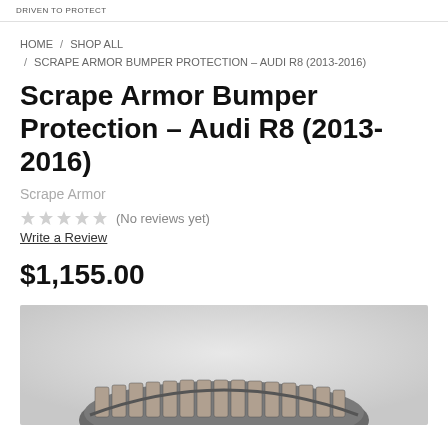DRIVEN TO PROTECT
HOME / SHOP ALL / SCRAPE ARMOR BUMPER PROTECTION – AUDI R8 (2013–2016)
Scrape Armor Bumper Protection – Audi R8 (2013-2016)
Scrape Armor
(No reviews yet)
Write a Review
$1,155.00
[Figure (photo): Product photo of Scrape Armor bumper protection for Audi R8, showing a metallic ribbed bumper guard component on a light grey background.]